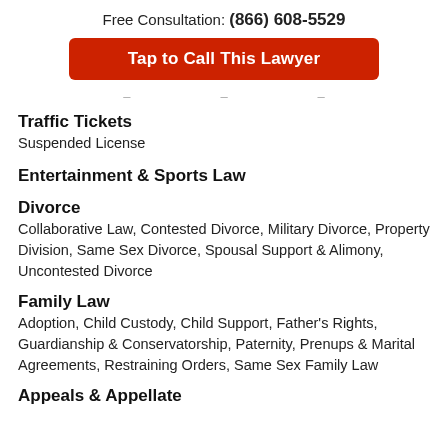Free Consultation: (866) 608-5529
Tap to Call This Lawyer
Traffic Tickets
Suspended License
Entertainment & Sports Law
Divorce
Collaborative Law, Contested Divorce, Military Divorce, Property Division, Same Sex Divorce, Spousal Support & Alimony, Uncontested Divorce
Family Law
Adoption, Child Custody, Child Support, Father's Rights, Guardianship & Conservatorship, Paternity, Prenups & Marital Agreements, Restraining Orders, Same Sex Family Law
Appeals & Appellate